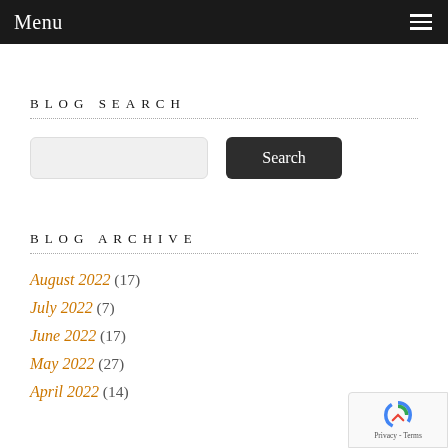Menu
BLOG SEARCH
[Figure (screenshot): Search input field and Search button]
BLOG ARCHIVE
August 2022 (17)
July 2022 (7)
June 2022 (17)
May 2022 (27)
April 2022 (14)